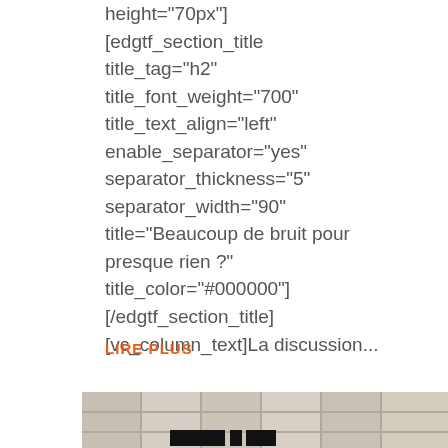height="70px"]
[edgtf_section_title
title_tag="h2"
title_font_weight="700"
title_text_align="left"
enable_separator="yes"
separator_thickness="5"
separator_width="90"
title="Beaucoup de bruit pour
presque rien ?"
title_color="#000000"]
[/edgtf_section_title]
[vc_column_text]La discussion...
LIRE PLUS
[Figure (photo): Partial view of a modern building facade with a grid of windows, black logo/text at bottom left]